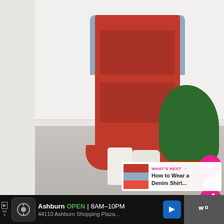[Figure (photo): A person wearing a red/orange tiered maxi dress with eyelet embroidery detail, a light blue denim jacket, and white ankle boots. They are standing next to a large fiddle-leaf fig plant in a terracotta pot, in a room with grey carpet and white walls. Social media UI elements overlay the photo including a pink heart button with '29' likes and a pink share button. A 'WHAT'S NEXT' widget in the bottom right shows a thumbnail and text 'How to Wear a Denim Shirt...']
WHAT'S NEXT → How to Wear a Denim Shirt...
Ashburn OPEN 8AM–10PM 44110 Ashburn Shopping Plaza...